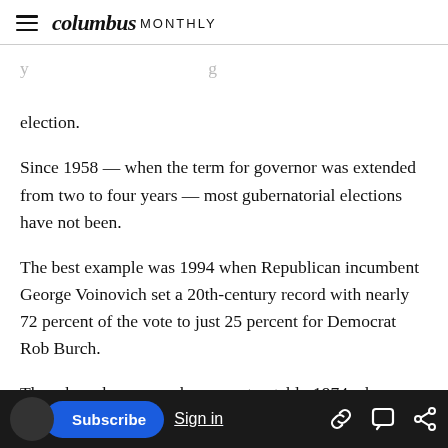columbus MONTHLY
election.
Since 1958 — when the term for governor was extended from two to four years — most gubernatorial elections have not been.
The best example was 1994 when Republican incumbent George Voinovich set a 20th-century record with nearly 72 percent of the vote to just 25 percent for Democrat Rob Burch.
There have been squeakers, most notably 1974 when Republican Jim Rhodes went to bed thinking he lost but woke up a winner, defeating
than 12,000 votes.